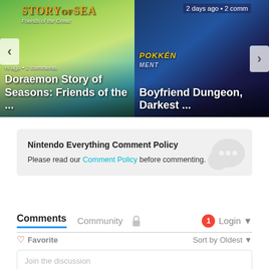[Figure (screenshot): Carousel card for Doraemon Story of Seasons: Friends of the Great Kingdom with game cover art background, navigation arrow on left, timestamp '...rs ago • 2 comments', title text 'Doraemon Story of Seasons: Friends of the ...']
[Figure (screenshot): Carousel card for Boyfriend Dungeon, Darkest ... game with dark blue background, '2 days ago • 2 comm...' timestamp, title text 'Boyfriend Dungeon, Darkest ...', right navigation arrow]
Nintendo Everything Comment Policy
Please read our Comment Policy before commenting.
Comments  Community  🔒  1  Login ▾
♡ Favorite    Sort by Oldest ▾
Join the discussion